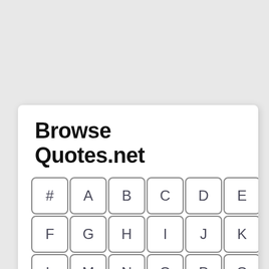Browse Quotes.net
[Figure (other): Alphabetical browse grid with keys: #, A, B, C, D, E, F, G, H, I, J, K, L, M, N, O, P, Q, R, S, T, U, V, W]